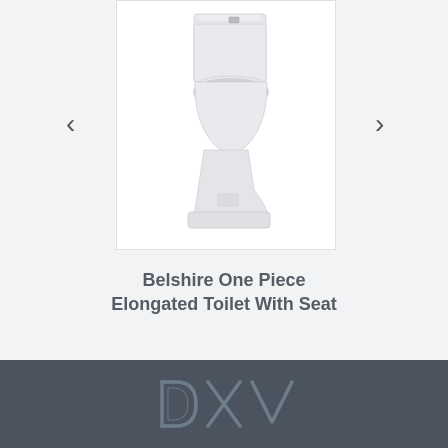[Figure (photo): A white one-piece elongated toilet with seat, shown in side/front angle view against a white background. The toilet has a rectangular tank with a small flush button, a round seat, and a boxy base.]
Belshire One Piece Elongated Toilet With Seat
[Figure (logo): DXV brand logo in grey tones on a dark slate-grey footer background. The logo shows the letters D, X, V where the X is formed by two overlapping diagonal lines.]